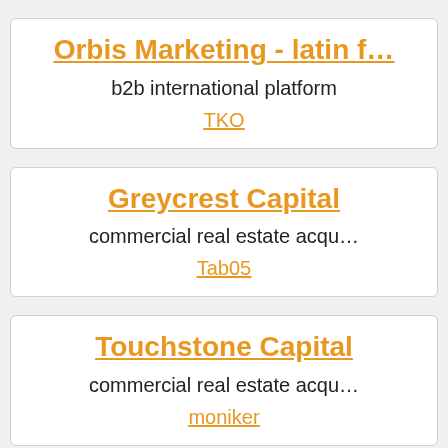Orbis Marketing - latin f…
b2b international platform
TKO
Greycrest Capital
commercial real estate acqu…
Tab05
Touchstone Capital
commercial real estate acqu…
moniker